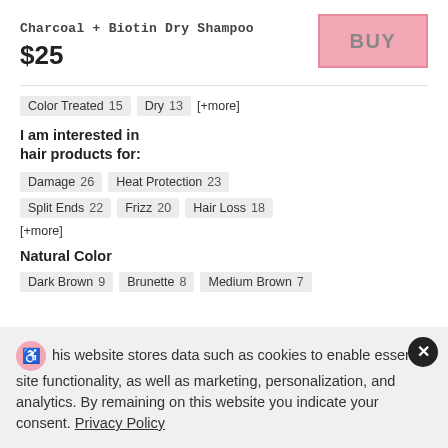Charcoal + Biotin Dry Shampoo
$25
BUY
Color Treated 15   Dry 13   [+more]
I am interested in hair products for:
Damage 26   Heat Protection 23
Split Ends 22   Frizz 20   Hair Loss 18
[+more]
Natural Color
Dark Brown 9   Brunette 8   Medium Brown 7
his website stores data such as cookies to enable essential site functionality, as well as marketing, personalization, and analytics. By remaining on this website you indicate your consent. Privacy Policy